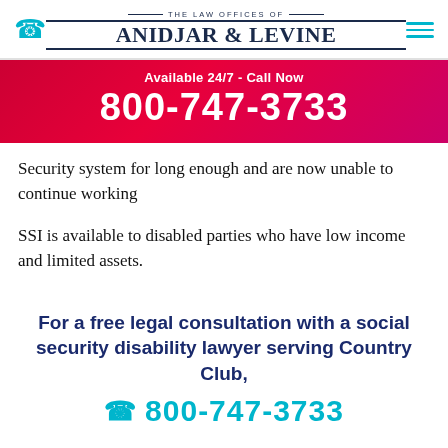The Law Offices of Anidjar & Levine
Available 24/7 - Call Now
800-747-3733
Security system for long enough and are now unable to continue working
SSI is available to disabled parties who have low income and limited assets.
For a free legal consultation with a social security disability lawyer serving Country Club,
800-747-3733